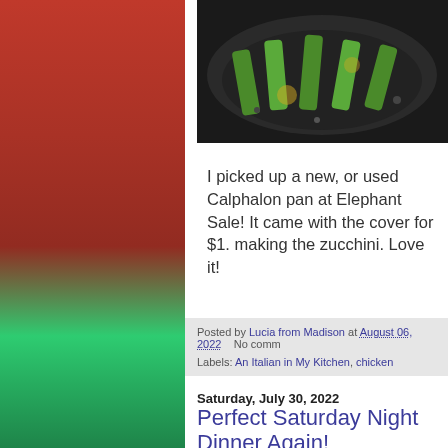[Figure (photo): Photo of zucchini being cooked in a Calphalon pan, viewed from above, dark background with green zucchini slices in oil/butter]
I picked up a new, or used Calphalon pan at Elephant Sale! It came with the cover for $1. making the zucchini. Love it!
Posted by Lucia from Madison at August 06, 2022   No comm
Labels: An Italian in My Kitchen, chicken
Saturday, July 30, 2022
Perfect Saturday Night Dinner Again!
[Figure (photo): Photo of corn on the cob and other food items on a plate]